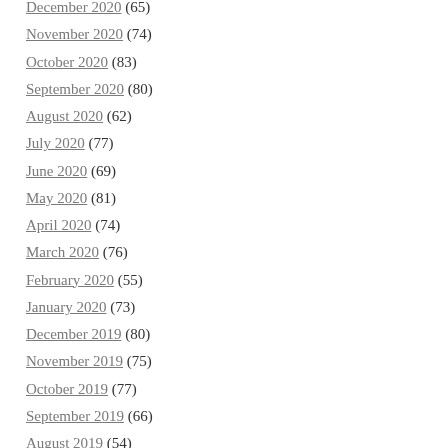December 2020 (65)
November 2020 (74)
October 2020 (83)
September 2020 (80)
August 2020 (62)
July 2020 (77)
June 2020 (69)
May 2020 (81)
April 2020 (74)
March 2020 (76)
February 2020 (55)
January 2020 (73)
December 2019 (80)
November 2019 (75)
October 2019 (77)
September 2019 (66)
August 2019 (54)
July 2019 (61)
June 2019 (65)